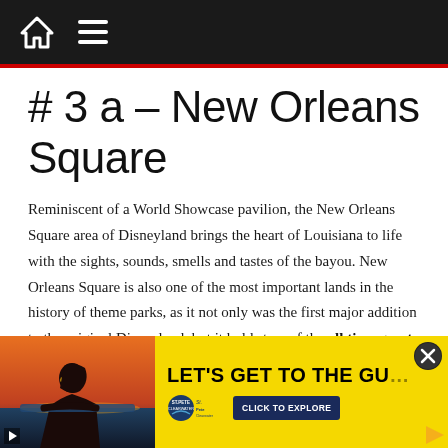Navigation bar with home icon and hamburger menu
# 3 a – New Orleans Square
Reminiscent of a World Showcase pavilion, the New Orleans Square area of Disneyland brings the heart of Louisiana to life with the sights, sounds, smells and tastes of the bayou. New Orleans Square is also one of the most important lands in the history of theme parks, as it not only was the first major addition to the original Disneyland, but it holds two of the all time great Disney rides with Pirates of the Caribbean and the Haunted Mansion. Talk about a 1-2 punch. It was also the first land
[Figure (photo): Advertisement banner with woman in sunglasses at poolside/beach at sunset, yellow background, 'LET'S GET TO THE GU...' headline, St. Pete Clearwater logo, Click to Explore button]